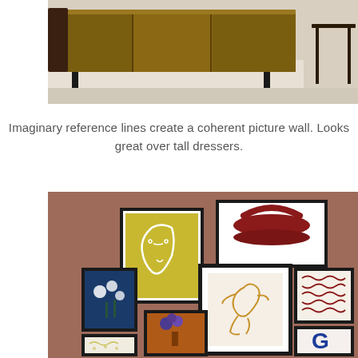[Figure (photo): Photo of a dark walnut wood credenza/sideboard with black legs on a white textured rug, partial view of a stool on the right]
Imaginary reference lines create a coherent picture wall. Looks great over tall dressers.
[Figure (photo): Photo of a gallery wall arrangement featuring multiple framed artworks on a terracotta/mauve colored wall: abstract line art face on yellow background, dark red sculptural bowl shape, blue floral photo, abstract squiggle pattern, seated female figure line art, blue abstract shape, botanical/floral prints on orange background, and a white/cream botanical pattern]